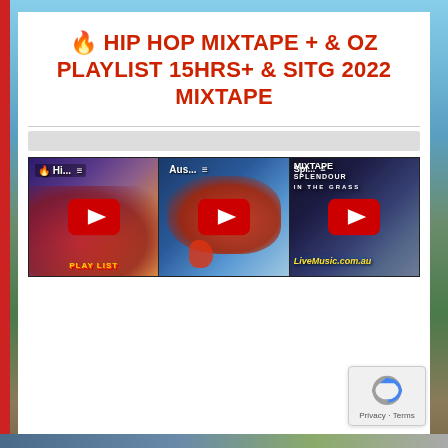🔥 HIP HOP MIXTAPE + & OZ PLAYLIST 15HRS+ & SITG 2022 MIXTAPE
[Figure (screenshot): Three YouTube video thumbnails side by side. First: Hip Hop playlist thumbnail with graffiti art. Second: Australian music playlist thumbnail with map. Third: Splendour in the Grass 2022 Mixtape on LiveMusic.com.au. Each has a red YouTube play button overlay and menu icon.]
[Figure (other): reCAPTCHA badge in bottom-right corner with Privacy and Terms text.]